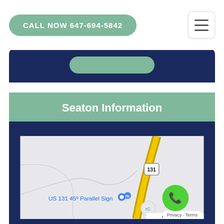CALL NOW 647-694-5842
Seaton Information
[Figure (map): Google map showing area near US 131 45° Parallel Sign, with a yellow diagonal road (US 131), route shield marker labeled 131, a blue location pin, and map label 'US 131 45° Parallel Sign']
Privacy · Terms